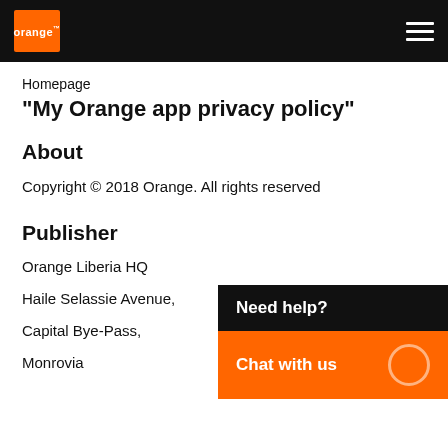orange (logo) | hamburger menu
Homepage
"My Orange app privacy policy"
About
Copyright © 2018 Orange. All rights reserved
Publisher
Orange Liberia HQ
Haile Selassie Avenue,
Capital Bye-Pass,
Monrovia
[Figure (infographic): Need help? Chat with us widget with black header and orange chat button]